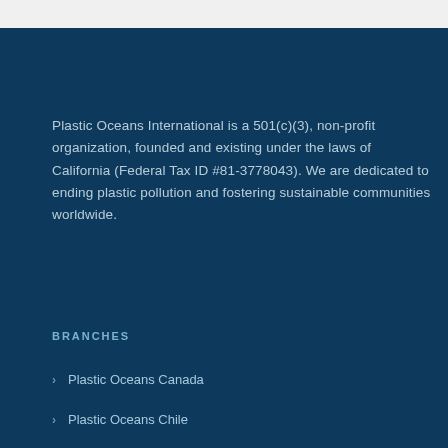Plastic Oceans International is a 501(c)(3), non-profit organization, founded and existing under the laws of California (Federal Tax ID #81-3778043). We are dedicated to ending plastic pollution and fostering sustainable communities worldwide.
BRANCHES
Plastic Oceans Canada
Plastic Oceans Chile